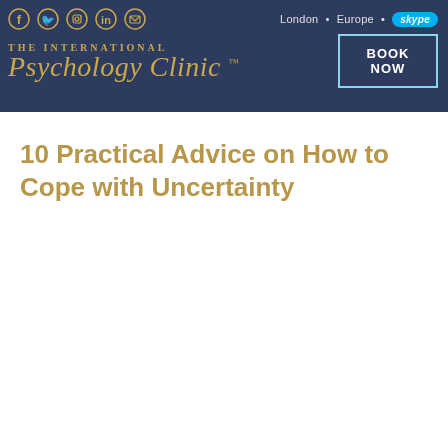[Figure (screenshot): The International Psychology Clinic website header with social media icons, London/Europe/Skype location indicators, clinic logo in gold script on dark navy background, and a BOOK NOW button]
10 Practical Advice on How to Cope with Uncertainty